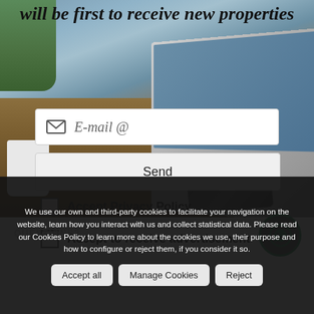will be first to receive new properties
E-mail @
Send
Accept Privacy Policy
Accept to receive advertisement
We use our own and third-party cookies to facilitate your navigation on the website, learn how you interact with us and collect statistical data. Please read our Cookies Policy to learn more about the cookies we use, their purpose and how to configure or reject them, if you consider it so.
Accept all
Manage Cookies
Reject